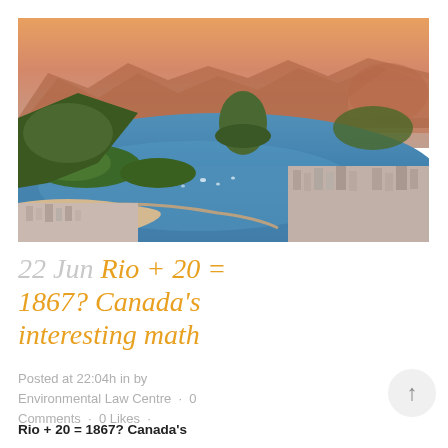[Figure (photo): Aerial photograph of Rio de Janeiro, Brazil, showing Sugarloaf Mountain (Pão de Açúcar), Guanabara Bay, the curved beachfront, city buildings, and surrounding hills with a warm orange-toned sky.]
22 Jun Rio + 20 = 1867? Canada's interesting math
Posted at 22:04h in by Environmental Law Centre · 0 Comments · 0 Likes ·
Rio + 20 = 1867? Canada's